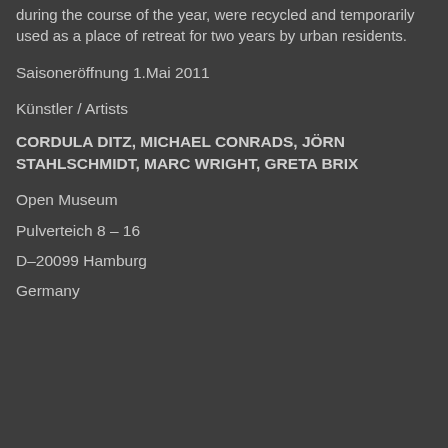during the course of the year, were recycled and temporarily used as a place of retreat for two years by urban residents.
Saisoneröffnung 1.Mai 2011
Künstler / Artists
CORDULA DITZ, MICHAEL CONRADS, JÖRN STAHLSCHMIDT, MARC WRIGHT, GRETA BRIX
Open Museum
Pulverteich 8 – 16
D–20099 Hamburg
Germany